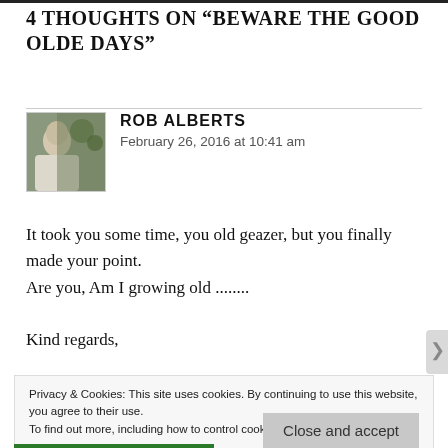4 THOUGHTS ON “BEWARE THE GOOD OLDE DAYS”
[Figure (photo): Avatar photo of Rob Alberts, a man outdoors near green plants]
ROB ALBERTS
February 26, 2016 at 10:41 am
It took you some time, you old geazer, but you finally made your point.
Are you, Am I growing old ........

Kind regards,
Privacy & Cookies: This site uses cookies. By continuing to use this website, you agree to their use.
To find out more, including how to control cookies, see here: Cookie Policy